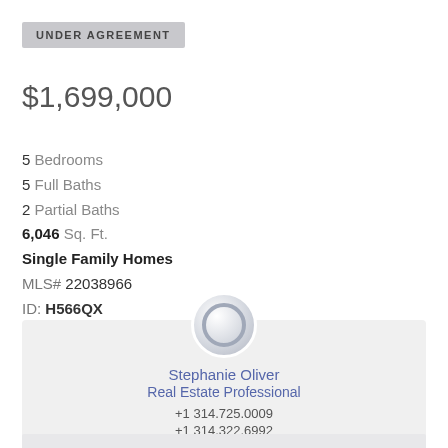UNDER AGREEMENT
$1,699,000
5 Bedrooms
5 Full Baths
2 Partial Baths
6,046 Sq. Ft.
Single Family Homes
MLS# 22038966
ID: H566QX
Stephanie Oliver
Real Estate Professional
+1 314.725.0009
+1 314.322.6992
Email Me